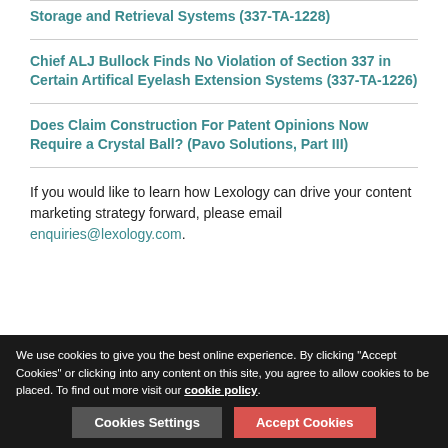Storage and Retrieval Systems (337-TA-1228)
Chief ALJ Bullock Finds No Violation of Section 337 in Certain Artifical Eyelash Extension Systems (337-TA-1226)
Does Claim Construction For Patent Opinions Now Require a Crystal Ball? (Pavo Solutions, Part III)
If you would like to learn how Lexology can drive your content marketing strategy forward, please email enquiries@lexology.com.
Featured video
[Figure (photo): Partial view of a person's head, appearing to be a video thumbnail for the Featured video section]
We use cookies to give you the best online experience. By clicking "Accept Cookies" or clicking into any content on this site, you agree to allow cookies to be placed. To find out more visit our cookie policy